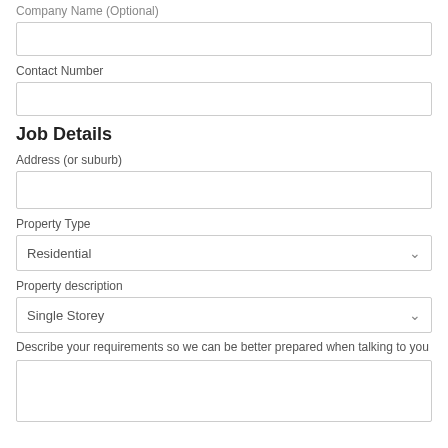Company Name (Optional)
Contact Number
Job Details
Address (or suburb)
Property Type
Residential
Property description
Single Storey
Describe your requirements so we can be better prepared when talking to you